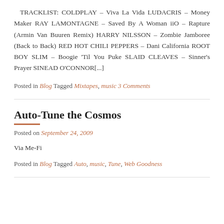TRACKLIST: COLDPLAY – Viva La Vida LUDACRIS – Money Maker RAY LAMONTAGNE – Saved By A Woman iiO – Rapture (Armin Van Buuren Remix) HARRY NILSSON – Zombie Jamboree (Back to Back) RED HOT CHILI PEPPERS – Dani California ROOT BOY SLIM – Boogie 'Til You Puke SLAID CLEAVES – Sinner's Prayer SINEAD O'CONNOR[...]
Posted in Blog Tagged Mixtapes, music 3 Comments
Auto-Tune the Cosmos
Posted on September 24, 2009
Via Me-Fi
Posted in Blog Tagged Auto, music, Tune, Web Goodness